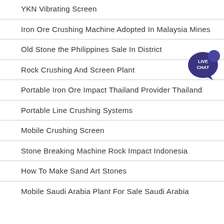YKN Vibrating Screen
Iron Ore Crushing Machine Adopted In Malaysia Mines
Old Stone the Philippines Sale In District
Rock Crushing And Screen Plant
Portable Iron Ore Impact Thailand Provider Thailand
Portable Line Crushing Systems
Mobile Crushing Screen
Stone Breaking Machine Rock Impact Indonesia
How To Make Sand Art Stones
Mobile Saudi Arabia Plant For Sale Saudi Arabia
[Figure (illustration): Live chat button with speech bubble icon in dark blue/purple, labeled LIVE CHAT in white text]